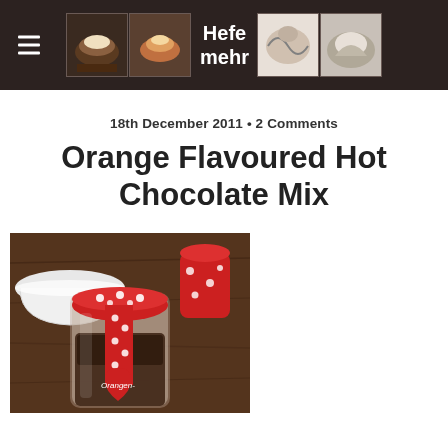Hefe mehr
18th December 2011 • 2 Comments
Orange Flavoured Hot Chocolate Mix
[Figure (photo): Glass jar filled with hot chocolate mix, decorated with a red polka-dot ribbon and a red heart-shaped tag reading 'Orangen-...'. A white bowl and another red jar are visible in the background on a wooden surface.]